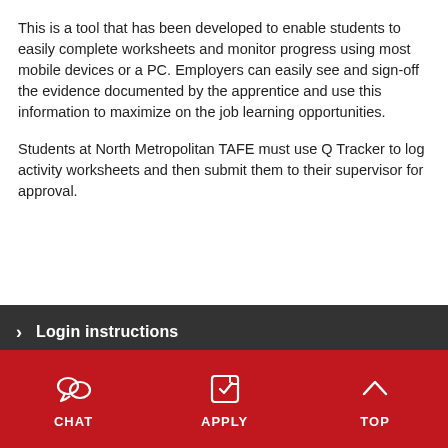This is a tool that has been developed to enable students to easily complete worksheets and monitor progress using most mobile devices or a PC. Employers can easily see and sign-off the evidence documented by the apprentice and use this information to maximize on the job learning opportunities.
Students at North Metropolitan TAFE must use Q Tracker to log activity worksheets and then submit them to their supervisor for approval.
Login instructions
Q Tracker walkthrough
CHAT   APPLY   TOP